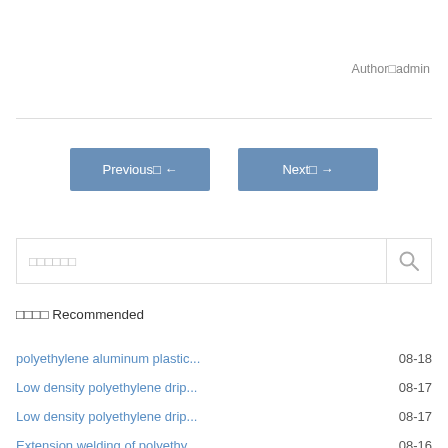Author□admin
[Figure (other): Navigation buttons: Previous□← and Next□→ blue buttons]
[Figure (other): Search bar with placeholder text and search icon]
□□□□ Recommended
polyethylene aluminum plastic... 08-18
Low density polyethylene drip... 08-17
Low density polyethylene drip... 08-17
Extension welding of polyethy... 08-16